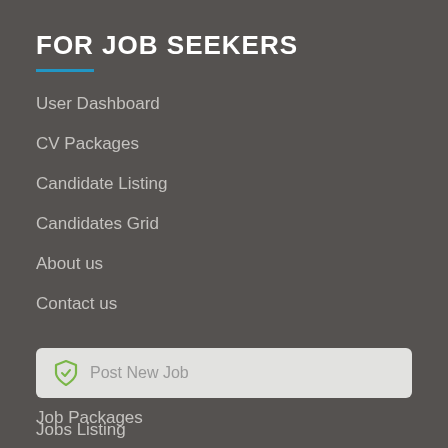FOR JOB SEEKERS
User Dashboard
CV Packages
Candidate Listing
Candidates Grid
About us
Contact us
QUICK LINKS
Job Packages
Post New Job
Jobs Listing